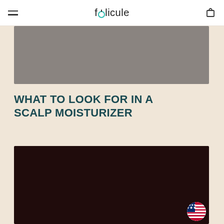folicule — navigation header with hamburger menu and cart icon
[Figure (photo): Gray/taupe colored image placeholder at top of article]
WHAT TO LOOK FOR IN A SCALP MOISTURIZER
[Figure (photo): Dark brown/near-black image, lower portion of article page, with US flag badge in bottom right corner]